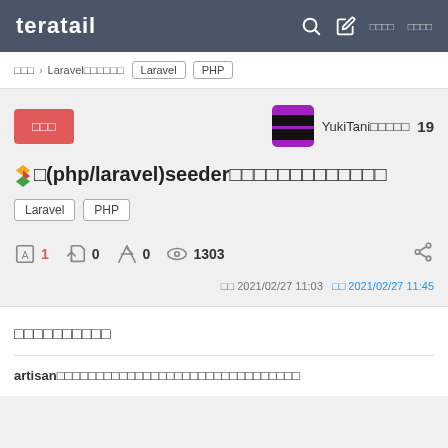teratail
□□□ > Laravel□□□□□□□ Laravel PHP
□□□ YukiTani□□□□□ 19
🌶(php/laravel)seeder□□□□□□□□□□□□□
Laravel PHP
A 1  👍 0  📎 0  👁 1303
□□ 2021/02/27 11:03 □□ 2021/02/27 11:45
□□□□□□□□□□
artisan□□□□□□□□□□□□□□□□□□□□□□□□□□□□□□□